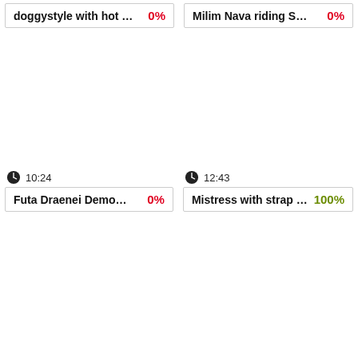doggystyle with hot … 0%
Milim Nava riding S… 0%
10:24
12:43
Futa Draenei Demo… 0%
Mistress with strap … 100%